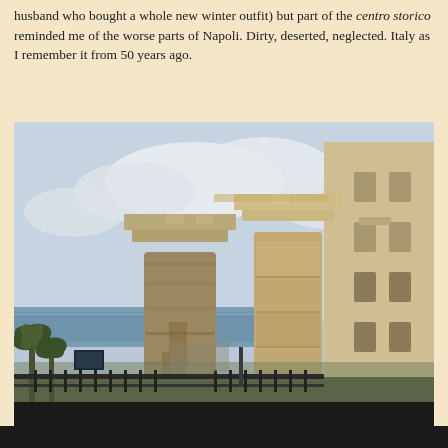husband who bought a whole new winter outfit) but part of the centro storico reminded me of the worse parts of Napoli. Dirty, deserted, neglected. Italy as I remember it from 50 years ago.
[Figure (photo): Two ancient Doric stone columns with capitals, standing against a cloudy sky, with a body of water visible in the background and a multi-story building to the right. Palm trees and iron fencing visible at lower left.]